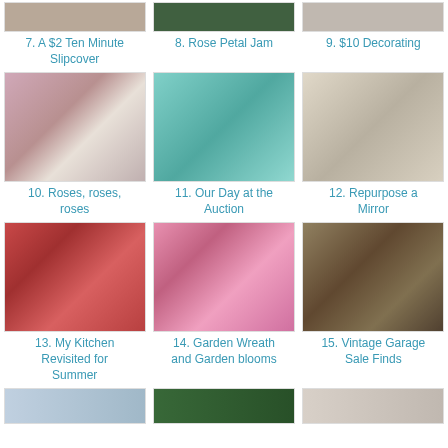[Figure (photo): Partial top image for item 7]
[Figure (photo): Partial top image for item 8]
[Figure (photo): Partial top image for item 9]
7. A $2 Ten Minute Slipcover
8. Rose Petal Jam
9. $10 Decorating
[Figure (photo): Room with LOVE sign on door with floral wallpaper]
[Figure (photo): Teal vintage ceramic dish with bird]
[Figure (photo): Silver/metal decorative tray or plate]
10. Roses, roses, roses
11. Our Day at the Auction
12. Repurpose a Mirror
[Figure (photo): Kitchen with floral canisters and red accents]
[Figure (photo): Colorful garden wreath with flowers]
[Figure (photo): Painting of a Dalmatian dog in antique frame]
13. My Kitchen Revisited for Summer
14. Garden Wreath and Garden blooms
15. Vintage Garage Sale Finds
[Figure (photo): Partial bottom image for item 16]
[Figure (photo): Partial bottom image for item 17]
[Figure (photo): Partial bottom image for item 18]